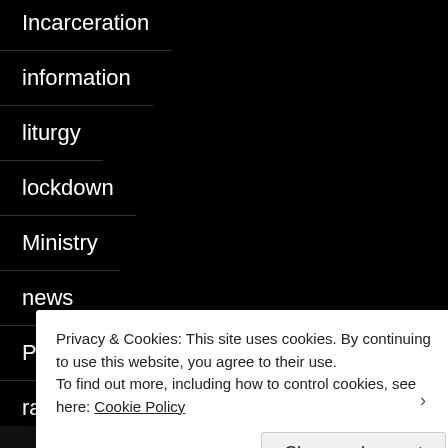Incarceration
information
liturgy
lockdown
Ministry
news
Poetry
race
Research
Privacy & Cookies: This site uses cookies. By continuing to use this website, you agree to their use.
To find out more, including how to control cookies, see here: Cookie Policy
Close and accept